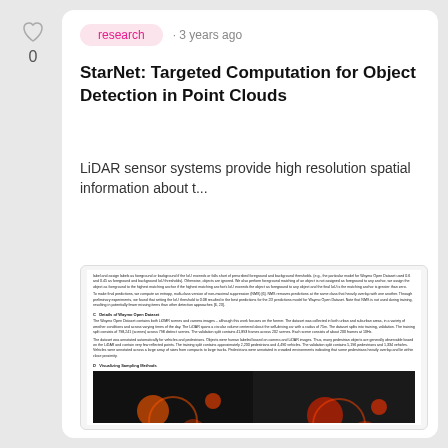[Figure (other): Heart/upvote icon with count 0]
research · 3 years ago
StarNet: Targeted Computation for Object Detection in Point Clouds
LiDAR sensor systems provide high resolution spatial information about t...
[Figure (screenshot): Preview of the paper page showing body text with sections 'C Details of Waymo Open Dataset' and 'D Visualizing Sampling Methods', plus two dark LiDAR point cloud images at the bottom.]